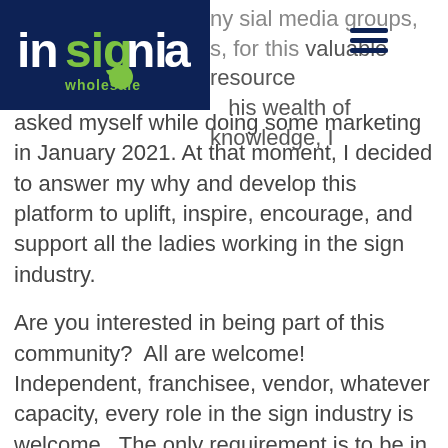[Figure (logo): Insignia Wholesale logo: dark navy blue rectangle background with 'insignia' in white lowercase letters (with green 'sig' letters) and 'wholesale' in green text below]
my social media groups, s, for this valuable resource his wealth of knowledge, I asked myself while doing some marketing in January 2021. At that moment, I decided to answer my why and develop this platform to uplift, inspire, encourage, and support all the ladies working in the sign industry.
Are you interested in being part of this community?  All are welcome! Independent, franchisee, vendor, whatever capacity, every role in the sign industry is welcome.  The only requirement is to be in signs, respectful of others in the community, and female.
We work in a field that is dominated by men and they have their networks, but being female comes with its special nuances and challenges,